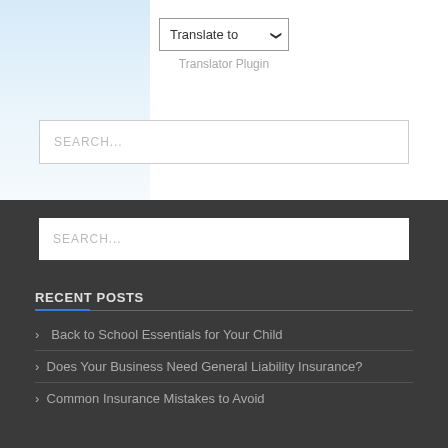[Figure (screenshot): Translate to dropdown widget with Translator Plugin label below, on a white panel over a light blue background]
SEARCH...
SEARCH...
RECENT POSTS
Back to School Essentials for Your Child
Does Your Business Need General Liability Insurance?
Common Insurance Mistakes to Avoid